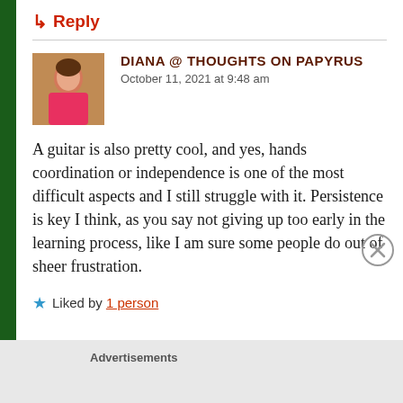↳ Reply
DIANA @ THOUGHTS ON PAPYRUS
October 11, 2021 at 9:48 am
A guitar is also pretty cool, and yes, hands coordination or independence is one of the most difficult aspects and I still struggle with it. Persistence is key I think, as you say not giving up too early in the learning process, like I am sure some people do out of sheer frustration.
★ Liked by 1 person
Advertisements